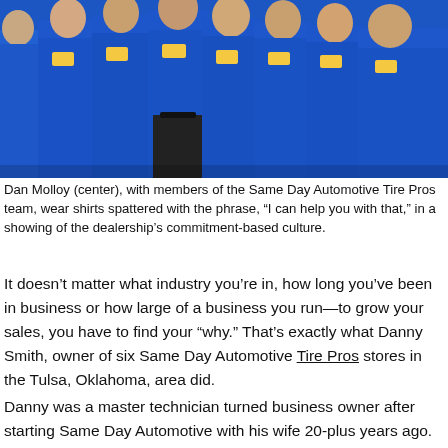[Figure (photo): Group photo of Dan Molloy (center) with members of the Same Day Automotive Tire Pros team, all wearing blue polo shirts with name tags/patches, standing together indoors.]
Dan Molloy (center), with members of the Same Day Automotive Tire Pros team, wear shirts spattered with the phrase, “I can help you with that,” in a showing of the dealership’s commitment-based culture.
It doesn’t matter what industry you’re in, how long you’ve been in business or how large of a business you run—to grow your sales, you have to find your “why.” That’s exactly what Danny Smith, owner of six Same Day Automotive Tire Pros stores in the Tulsa, Oklahoma, area did.
Danny was a master technician turned business owner after starting Same Day Automotive with his wife 20-plus years ago. Starting out, Danny was a command and